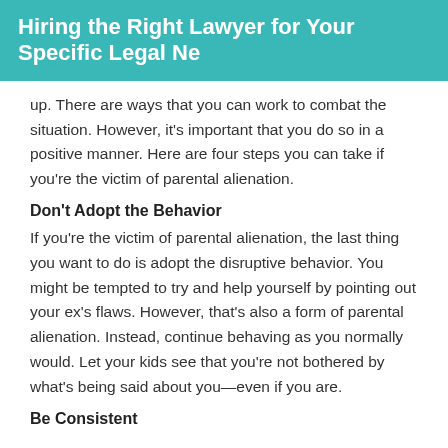Hiring the Right Lawyer for Your Specific Legal Ne
up. There are ways that you can work to combat the situation. However, it's important that you do so in a positive manner. Here are four steps you can take if you're the victim of parental alienation.
Don't Adopt the Behavior
If you're the victim of parental alienation, the last thing you want to do is adopt the disruptive behavior. You might be tempted to try and help yourself by pointing out your ex's flaws. However, that's also a form of parental alienation. Instead, continue behaving as you normally would. Let your kids see that you're not bothered by what's being said about you—even if you are.
Be Consistent